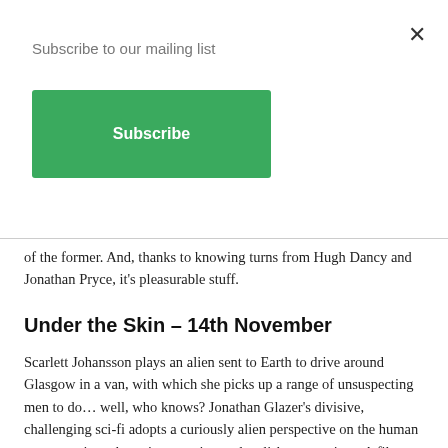Subscribe to our mailing list
Subscribe
of the former. And, thanks to knowing turns from Hugh Dancy and Jonathan Pryce, it's pleasurable stuff.
Under the Skin – 14th November
Scarlett Johansson plays an alien sent to Earth to drive around Glasgow in a van, with which she picks up a range of unsuspecting men to do… well, who knows? Jonathan Glazer's divisive, challenging sci-fi adopts a curiously alien perspective on the human race, creating a haunting, moving and stylish masterpiece. A film that sticks with you, to your insides, for an inhuman amount of time.